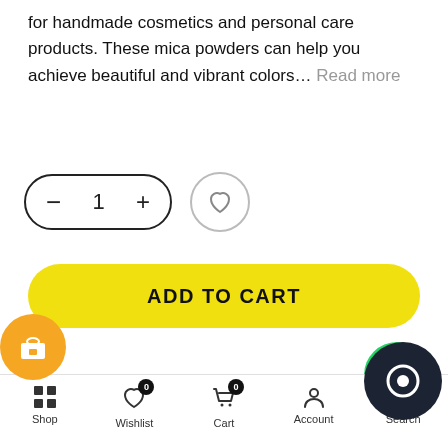for handmade cosmetics and personal care products. These mica powders can help you achieve beautiful and vibrant colors… Read more
[Figure (screenshot): Quantity selector with minus, 1, plus buttons and a heart/wishlist button]
[Figure (screenshot): Yellow ADD TO CART button]
[Figure (screenshot): Green WhatsApp floating button]
Description
Craftiviti's Mica Powders are specially sourced, cosmetic grade (skin-safe) mineral pigments. They are suitable
Shop | Wishlist | Cart | Account | Search